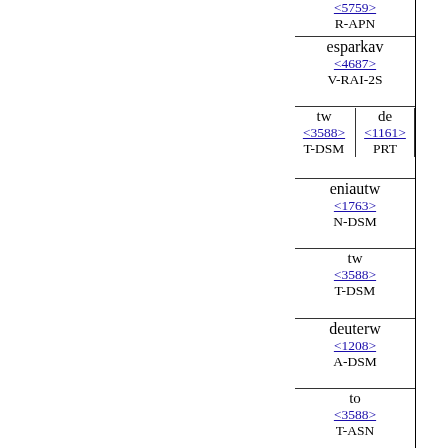< 5759 >
R-APN
esparkav
<4687>
V-RAI-2S
tw
<3588>
T-DSM
de
<1161>
PRT
eniautw
<1763>
N-DSM
tw
<3588>
T-DSM
deuterw
<1208>
A-DSM
to
<3588>
T-ASN
kataleimma
<2640>
N-ASN
tw
de